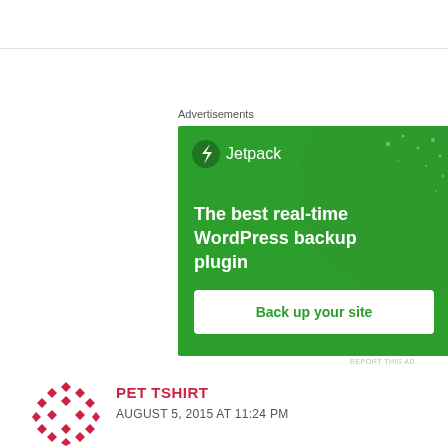Advertisements
[Figure (screenshot): Jetpack advertisement banner with green background. Shows Jetpack logo (lightning bolt icon) at top left, headline 'The best real-time WordPress backup plugin', and a white button 'Back up your site'.]
REPORT THIS AD
PET TSHIRT
AUGUST 5, 2015 AT 11:24 PM